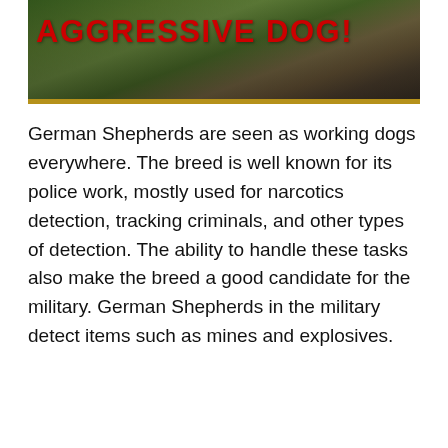[Figure (photo): Photo of a person outdoors with green foliage in background, overlaid with bold red text reading 'AGGRESSIVE DOG!' in the upper left area of the image. A gold/olive border frames the bottom of the image.]
German Shepherds are seen as working dogs everywhere. The breed is well known for its police work, mostly used for narcotics detection, tracking criminals, and other types of detection. The ability to handle these tasks also make the breed a good candidate for the military. German Shepherds in the military detect items such as mines and explosives.